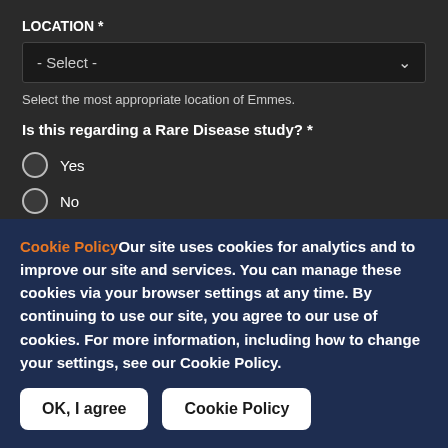LOCATION *
- Select -
Select the most appropriate location of Emmes.
Is this regarding a Rare Disease study? *
Yes
No
Select "Yes" if this is regarding a Rare Disease study.
REASON YOU ARE CONTACTING EMMES *
- Select -
Cookie Policy Our site uses cookies for analytics and to improve our site and services. You can manage these cookies via your browser settings at any time. By continuing to use our site, you agree to our use of cookies. For more information, including how to change your settings, see our Cookie Policy.
OK, I agree
Cookie Policy